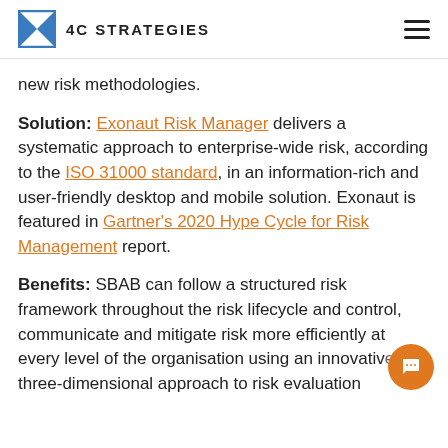4C STRATEGIES
new risk methodologies.
Solution: Exonaut Risk Manager delivers a systematic approach to enterprise-wide risk, according to the ISO 31000 standard, in an information-rich and user-friendly desktop and mobile solution. Exonaut is featured in Gartner’s 2020 Hype Cycle for Risk Management report.
Benefits: SBAB can follow a structured risk framework throughout the risk lifecycle and control, communicate and mitigate risk more efficiently at every level of the organisation using an innovative three-dimensional approach to risk evaluation